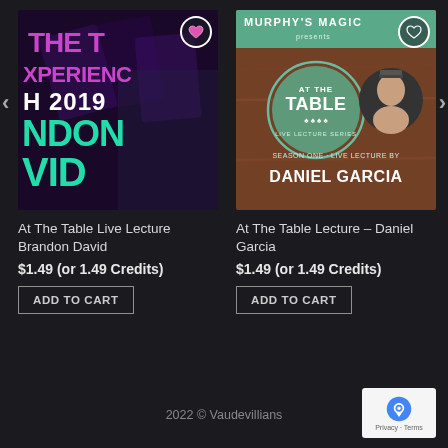[Figure (photo): Product image for At The Table Live Lecture Brandon David – dark purple/blue background with neon text showing 'THE TABLE XPERIENCE H 2019 NDON VID' and a performer's face]
At The Table Live Lecture Brandon David
$1.49 (or 1.49 Credits)
ADD TO CART
[Figure (photo): Product image for At The Table Lecture Daniel Garcia – Murphy's Magic presents, teal/wood background with circular logo and portrait of Daniel Garcia]
At The Table Lecture – Daniel Garcia
$1.49 (or 1.49 Credits)
ADD TO CART
2022 © Vaudevillians